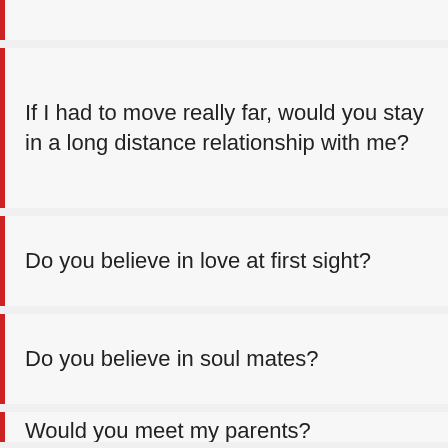If I had to move really far, would you stay in a long distance relationship with me?
Do you believe in love at first sight?
Do you believe in soul mates?
Would you meet my parents?